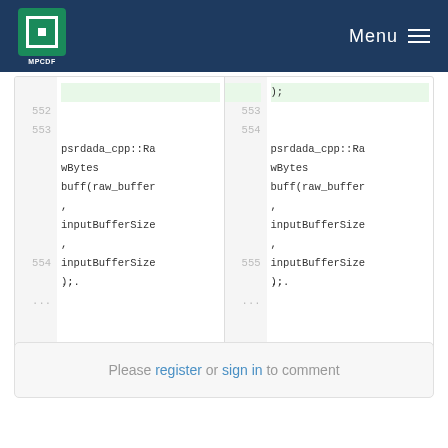MPCDF Menu
552
553
554
...

psrdada_cpp::RawBytes buff(raw_buffer, inputBufferSize, inputBufferSize);

553
554
555
...
);

psrdada_cpp::RawBytes buff(raw_buffer, inputBufferSize, inputBufferSize);
Please register or sign in to comment